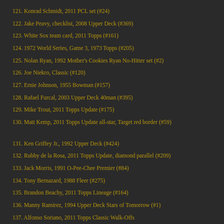121. Konrad Schmidt, 2011 PCL set (#24)
122. Jake Peavy, checklist, 2008 Upper Deck (#369)
123. White Sox team card, 2011 Topps (#161)
124. 1972 World Series, Game 3, 1973 Topps (#205)
125. Nolan Ryan, 1992 Mother's Cookies Ryan No-Hitter set (#2)
126. Joe Niekro, Classic (#120)
127. Ernie Johnson, 1955 Bowman (#157)
128. Rafael Furcal, 2003 Upper Deck 40man (#395)
129. Mike Trout, 2011 Topps Update (#175)
130. Matt Kemp, 2011 Topps Update all-star, Target red border (#59)
131. Ken Griffey Jr., 1992 Upper Deck (#424)
132. Rubby de la Rosa, 2011 Topps Update, diamond parallel (#209)
133. Jack Morris, 1991 O-Pee-Chee Premier (#84)
134. Tony Bernazard, 1988 Fleer (#275)
135. Brandon Beachy, 2011 Topps Lineage (#164)
136. Manny Ramirez, 1994 Upper Deck Stars of Tomorrow (#1)
137. Alfonso Soriano, 2011 Topps Classic Walk-Offs